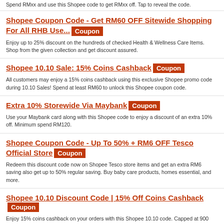Spend RMxx and use this Shopee code to get RMxx off. Tap to reveal the code.
Shopee Coupon Code - Get RM60 OFF Sitewide Shopping For All RHB Use... Coupon
Enjoy up to 25% discount on the hundreds of checked Health & Wellness Care Items. Shop from the given collection and get discount assured.
Shopee 10.10 Sale: 15% Coins Cashback Coupon
All customers may enjoy a 15% coins cashback using this exclusive Shopee promo code during 10.10 Sales! Spend at least RM60 to unlock this Shopee coupon code.
Extra 10% Storewide Via Maybank Coupon
Use your Maybank card along with this Shopee code to enjoy a discount of an extra 10% off. Minimum spend RM120.
Shopee Coupon Code - Up To 50% + RM6 OFF Tesco Official Store Coupon
Redeem this discount code now on Shopee Tesco store items and get an extra RM6 saving also get up to 50% regular saving. Buy baby care products, homes essential, and more.
Shopee 10.10 Discount Code | 15% Off Coins Cashback Coupon
Enjoy 15% coins cashback on your orders with this Shopee 10.10 code. Capped at 900 coins.